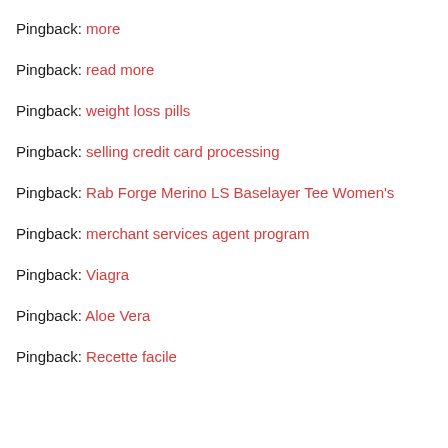Pingback: more
Pingback: read more
Pingback: weight loss pills
Pingback: selling credit card processing
Pingback: Rab Forge Merino LS Baselayer Tee Women's
Pingback: merchant services agent program
Pingback: Viagra
Pingback: Aloe Vera
Pingback: Recette facile